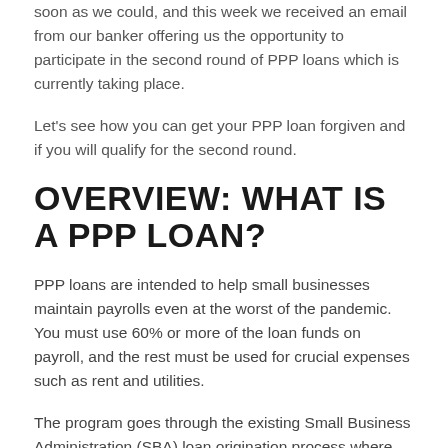soon as we could, and this week we received an email from our banker offering us the opportunity to participate in the second round of PPP loans which is currently taking place.
Let's see how you can get your PPP loan forgiven and if you will qualify for the second round.
OVERVIEW: WHAT IS A PPP LOAN?
PPP loans are intended to help small businesses maintain payrolls even at the worst of the pandemic. You must use 60% or more of the loan funds on payroll, and the rest must be used for crucial expenses such as rent and utilities.
The program goes through the existing Small Business Administration (SBA) loan origination process where private banks issue the loans, which are then guaranteed by the